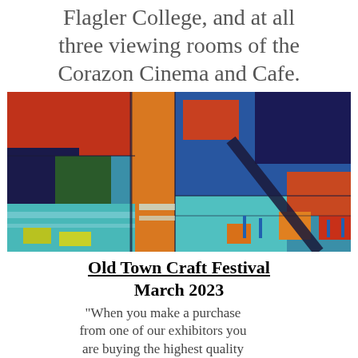Flagler College, and at all three viewing rooms of the Corazon Cinema and Cafe.
[Figure (photo): Abstract painting with bold colors: red, blue, orange, teal, yellow, and dark navy. Geometric shapes and cross-like forms in a vibrant mixed-media style.]
Old Town Craft Festival
March 2023
"When you make a purchase from one of our exhibitors you are buying the highest quality art from real working artists. Holiday Art Shows never knowingly allows exhibitors with less than genuine work nor do we accept those buying